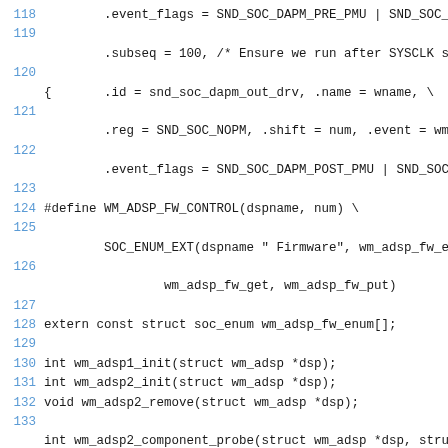Code listing lines 118-134, C source code with line numbers
118     .event_flags = SND_SOC_DAPM_PRE_PMU | SND_SOC_DA
119
.subseq = 100, /* Ensure we run after SYSCLK sup
120
{       .id = snd_soc_dapm_out_drv, .name = wname, \
121
.reg = SND_SOC_NOPM, .shift = num, .event = wm_a
122
.event_flags = SND_SOC_DAPM_POST_PMU | SND_SOC_D
123
124 #define WM_ADSP_FW_CONTROL(dspname, num) \
125
SOC_ENUM_EXT(dspname " Firmware", wm_adsp_fw_enu
126
wm_adsp_fw_get, wm_adsp_fw_put)
127
128 extern const struct soc_enum wm_adsp_fw_enum[];
129
130 int wm_adsp1_init(struct wm_adsp *dsp);
131 int wm_adsp2_init(struct wm_adsp *dsp);
132 void wm_adsp2_remove(struct wm_adsp *dsp);
133
int wm_adsp2_component_probe(struct wm_adsp *dsp, struct
134